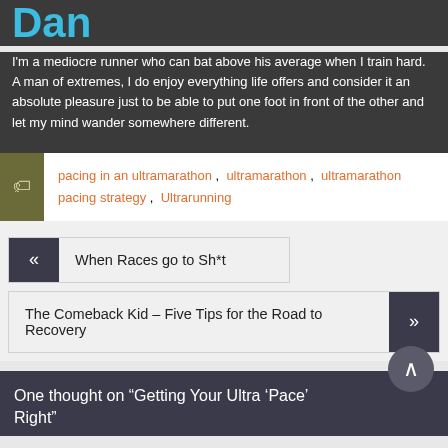Dan
I'm a mediocre runner who can bat above his average when I train hard. A man of extremes, I do enjoy everything life offers and consider it an absolute pleasure just to be able to put one foot in front of the other and let my mind wander somewhere different.
pacing in an ultramarathon , ultramarathon , ultramarathon pacing strategy , Ultrarunning
When Races go to Sh*t
The Comeback Kid – Five Tips for the Road to Recovery
One thought on “Getting Your Ultra ‘Pace’ Right”